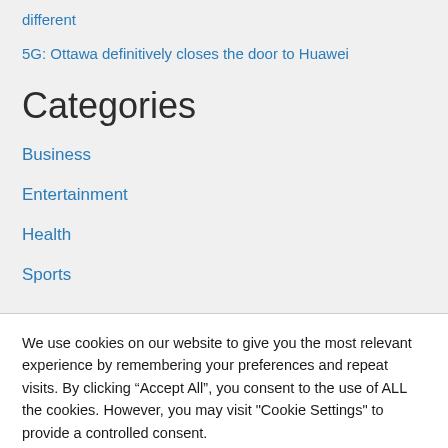different
5G: Ottawa definitively closes the door to Huawei
Categories
Business
Entertainment
Health
Sports
We use cookies on our website to give you the most relevant experience by remembering your preferences and repeat visits. By clicking “Accept All”, you consent to the use of ALL the cookies. However, you may visit "Cookie Settings" to provide a controlled consent.